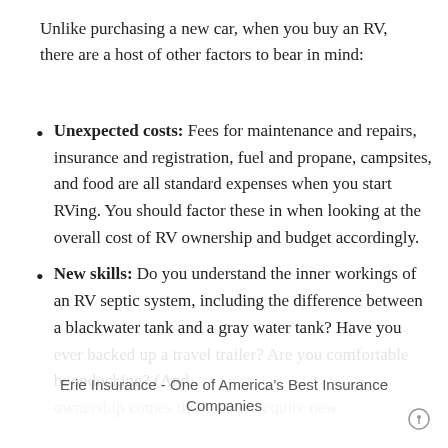Unlike purchasing a new car, when you buy an RV, there are a host of other factors to bear in mind:
Unexpected costs: Fees for maintenance and repairs, insurance and registration, fuel and propane, campsites, and food are all standard expenses when you start RVing. You should factor these in when looking at the overall cost of RV ownership and budget accordingly.
New skills: Do you understand the inner workings of an RV septic system, including the difference between a blackwater tank and a gray water tank? Have you ever backed up a travel trailer? Are you comfortable boondocking? (And ownership comes the need to acquire new
Erie Insurance - One of America's Best Insurance Companies